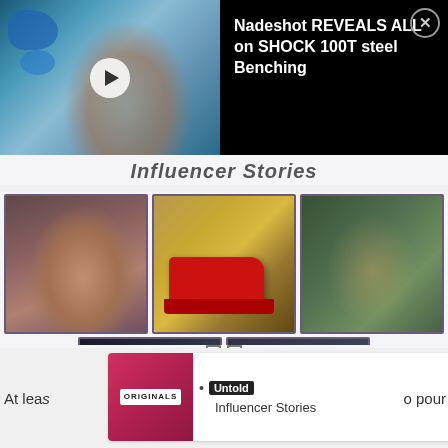[Figure (screenshot): Top ad overlay: video thumbnail of a man's face with blue paint/tattoos on left, black background on right with text 'Nadeshot REVEALS ALL on SHOCK 100T steel Benching' and a close button]
Influencer Stories
[Figure (photo): Grid of 5 thumbnails: man face close-up, red sports car, man with sunglasses outdoors, man in dark clothing indoors, blurry face close-up]
[Figure (infographic): LEARN MORE button with two small square icons and three dots with a bar]
[Figure (screenshot): Bottom ad strip: text 'At leas' on left, ad card with Originals logo, bullet point with 'Untold' badge and 'Influencer Stories' text, LEARN MORE button, 'o pour' text on right]